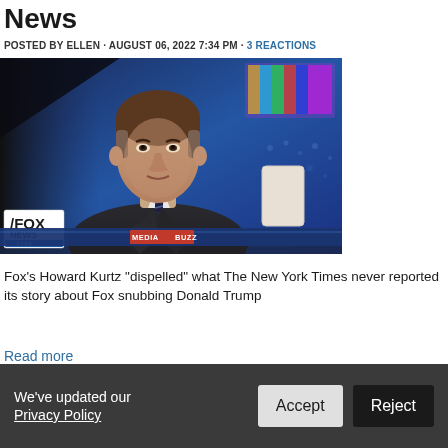News
POSTED BY ELLEN · AUGUST 06, 2022 7:34 PM · 3 REACTIONS
[Figure (photo): Fox News anchor Howard Kurtz seated at a desk on the MediaBuzz set, with a blue studio background and Fox News Live bug in lower left corner.]
Fox's Howard Kurtz "dispelled" what The New York Times never reported its story about Fox snubbing Donald Trump
Read more
We've updated our Privacy Policy
Accept
Reject